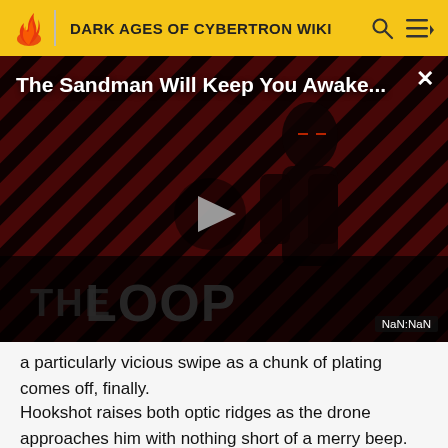DARK AGES OF CYBERTRON WIKI
[Figure (screenshot): Video player thumbnail showing 'The Sandman Will Keep You Awake...' with a dark figure on a striped red/black background, play button in center, THE LOOP branding at bottom, NaN:NaN timestamp, and X close button.]
a particularly vicious swipe as a chunk of plating comes off, finally.
Hookshot raises both optic ridges as the drone approaches him with nothing short of a merry beep.